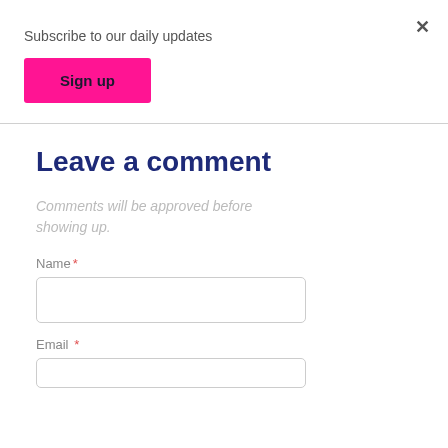Subscribe to our daily updates
[Figure (other): Pink 'Sign up' button]
Leave a comment
Comments will be approved before showing up.
Name *
[Figure (other): Name text input field]
Email *
[Figure (other): Email text input field (partially visible)]